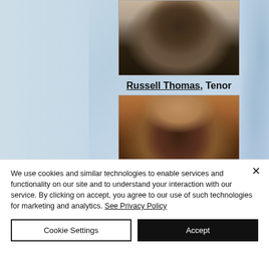[Figure (photo): Headshot of Russell Thomas, a Black man with a beard wearing a dark jacket]
Russell Thomas, Tenor
[Figure (photo): Headshot of a bald Black man smiling, in front of a warm brown background]
We use cookies and similar technologies to enable services and functionality on our site and to understand your interaction with our service. By clicking on accept, you agree to our use of such technologies for marketing and analytics. See Privacy Policy